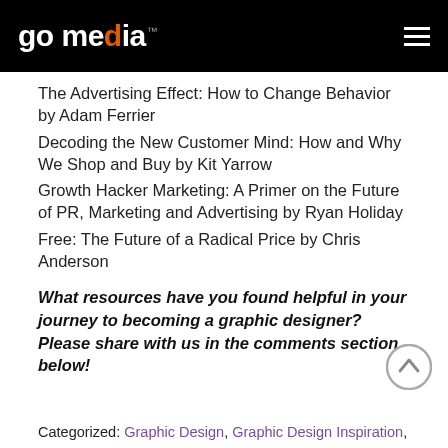go media™
The Advertising Effect: How to Change Behavior by Adam Ferrier
Decoding the New Customer Mind: How and Why We Shop and Buy by Kit Yarrow
Growth Hacker Marketing: A Primer on the Future of PR, Marketing and Advertising by Ryan Holiday
Free: The Future of a Radical Price by Chris Anderson
What resources have you found helpful in your journey to becoming a graphic designer? Please share with us in the comments section below!
Categorized: Graphic Design, Graphic Design Inspiration,